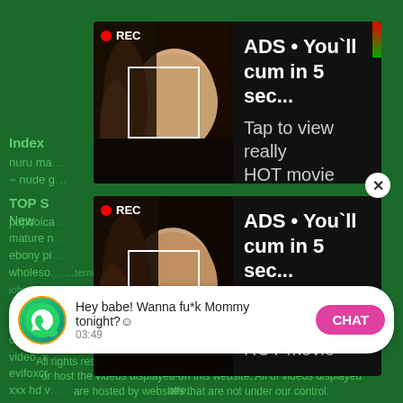Index
nuru ma... ...eb porno
~ nude g...
TOP S...
pupboica... ...ex,
mature n... ...mama
ebony pi... ...ey,
wholeso...
mushybaybee  norntry  bixxxwww  sister and brother prone sex videos  sweaty interracial
coworkin... ...x hd
com, xh... ...pron
video, x...
evifoxcr... ...dam
xxx hd v... ...utte,
isaac an... ...ian and
xvideoso...
[Figure (screenshot): Ad overlay 1: REC badge, adult image thumbnail, text 'ADS • You'll cum in 5 sec... Tap to view really HOT movie']
[Figure (screenshot): Ad overlay 2: REC badge, adult image thumbnail, text 'ADS • You'll cum in 5 sec... Tap to view really HOT movie']
New... ...bes.
[Figure (screenshot): Chat bar: WhatsApp-style icon, message 'Hey babe! Wanna fu*k Mommy tonight?☺ 03:49', CHAT button]
All rights reserved. Disclaimer: Clip entity. Tube doesn't own, produce or host the videos displayed on this website. All of videos displayed are hosted by websites that are not under our control.